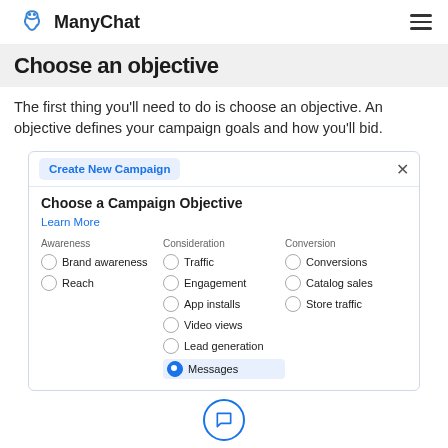ManyChat
Choose an objective
The first thing you'll need to do is choose an objective. An objective defines your campaign goals and how you'll bid.
[Figure (screenshot): Dialog box titled 'Create New Campaign' with 'Choose a Campaign Objective' and 'Learn More' link. Three columns: Awareness (Brand awareness, Reach), Consideration (Traffic, Engagement, App installs, Video views, Lead generation, Messages [selected]), Conversion (Conversions, Catalog sales, Store traffic). Messages option is selected with blue fill.]
[Figure (illustration): Blue circular icon with chat bubble symbol at bottom center]